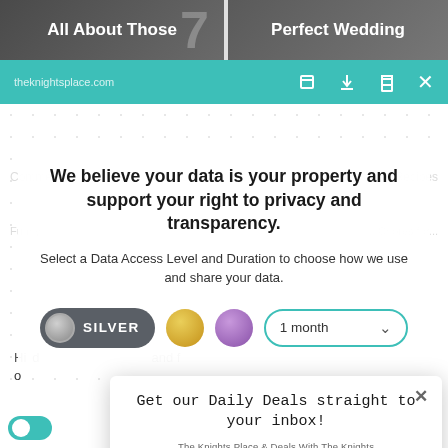[Figure (screenshot): Top strip with two partially visible article thumbnail images: left shows 'All About Those' title on dark background, right shows 'Perfect Wedding' title on dark background]
theknightsplace.com  [expand] [download] [print] [close]
We believe your data is your property and support your right to privacy and transparency.
Select a Data Access Level and Duration to choose how we use and share your data.
[Figure (infographic): Privacy control row with: SILVER toggle pill (dark grey), gold circle, purple circle, and '1 month' dropdown with teal border and chevron]
Get our Daily Deals straight to your inbox!
The Knights Place & Deals With The Knights
Enter your Email
Subscribe Now